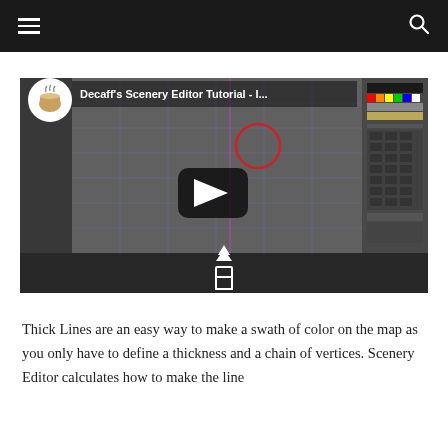≡  [hamburger menu]  [search icon]
[Figure (screenshot): YouTube-style video thumbnail for 'Decaff's Scenery Editor Tutorial - I...' showing a scenery editor interface with a grid, color palette panel on the right, a red circle drawn on the canvas, a vertical purple line, and a dark bottom bar with an upload/share icon. A coffee cup logo appears in the top-left corner of the thumbnail.]
Thick Lines are an easy way to make a swath of color on the map as you only have to define a thickness and a chain of vertices. Scenery Editor calculates how to make the line